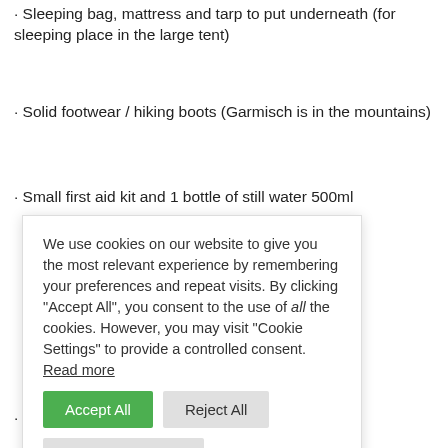· Sleeping bag, mattress and tarp to put underneath (for sleeping place in the large tent)
· Solid footwear / hiking boots (Garmisch is in the mountains)
· Small first aid kit and 1 bottle of still water 500ml
We use cookies on our website to give you the most relevant experience by remembering your preferences and repeat visits. By clicking "Accept All", you consent to the use of all the cookies. However, you may visit "Cookie Settings" to provide a controlled consent. Read more
· Sun protection and rain gear